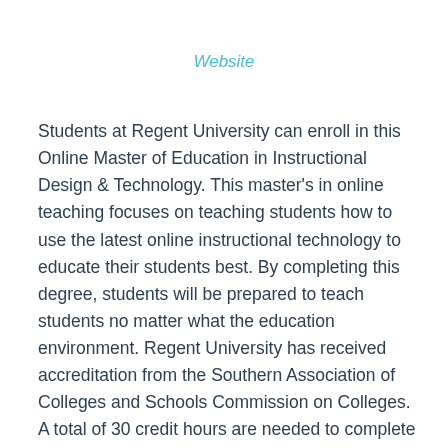Website
Students at Regent University can enroll in this Online Master of Education in Instructional Design & Technology. This master's in online teaching focuses on teaching students how to use the latest online instructional technology to educate their students best. By completing this degree, students will be prepared to teach students no matter what the education environment. Regent University has received accreditation from the Southern Association of Colleges and Schools Commission on Colleges. A total of 30 credit hours are needed to complete this online teaching master's degree.